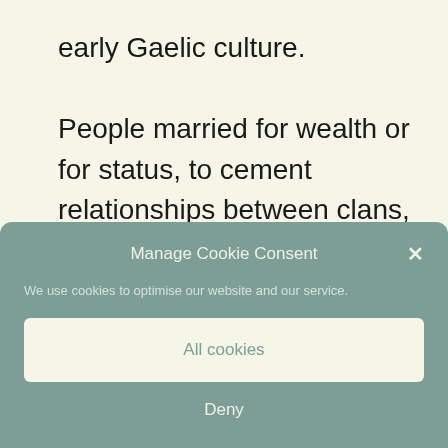early Gaelic culture. People married for wealth or for status, to cement relationships between clans, or to secure heirs… love really wasn't part of the equation.
Manage Cookie Consent
We use cookies to optimise our website and our service.
All cookies
Deny